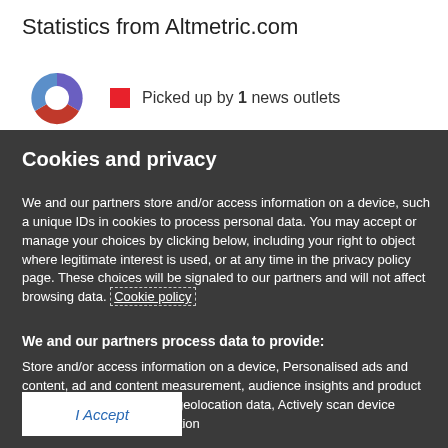Statistics from Altmetric.com
Picked up by 1 news outlets
Cookies and privacy
We and our partners store and/or access information on a device, such a unique IDs in cookies to process personal data. You may accept or manage your choices by clicking below, including your right to object where legitimate interest is used, or at any time in the privacy policy page. These choices will be signaled to our partners and will not affect browsing data. Cookie policy
We and our partners process data to provide:
Store and/or access information on a device, Personalised ads and content, ad and content measurement, audience insights and product development, Use precise geolocation data, Actively scan device characteristics for identification
List of Partners (vendors)
I Accept